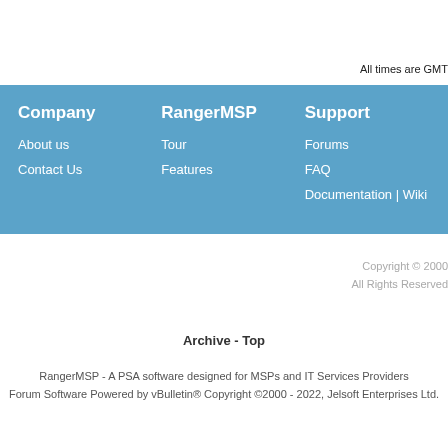All times are GMT
Company
About us
Contact Us
RangerMSP
Tour
Features
Support
Forums
FAQ
Documentation | Wiki
Copyright © 2000
All Rights Reserved
Archive - Top
RangerMSP - A PSA software designed for MSPs and IT Services Providers
Forum Software Powered by vBulletin® Copyright ©2000 - 2022, Jelsoft Enterprises Ltd.